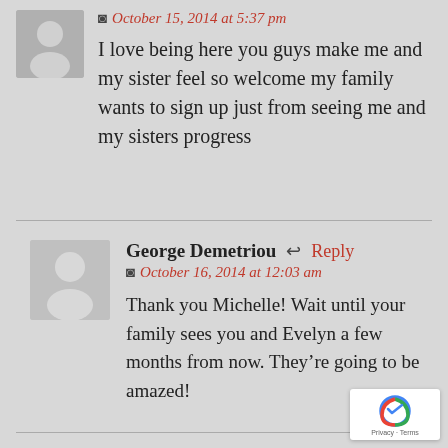October 15, 2014 at 5:37 pm
I love being here you guys make me and my sister feel so welcome my family wants to sign up just from seeing me and my sisters progress
George Demetriou
Reply
October 16, 2014 at 12:03 am
Thank you Michelle! Wait until your family sees you and Evelyn a few months from now. They’re going to be amazed!